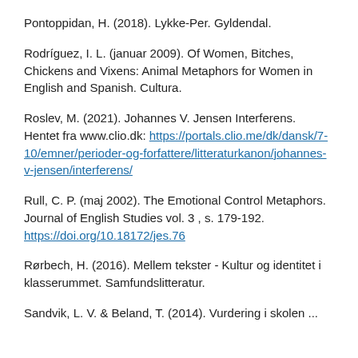Pontoppidan, H. (2018). Lykke-Per. Gyldendal.
Rodríguez, I. L. (januar 2009). Of Women, Bitches, Chickens and Vixens: Animal Metaphors for Women in English and Spanish. Cultura.
Roslev, M. (2021). Johannes V. Jensen Interferens. Hentet fra www.clio.dk: https://portals.clio.me/dk/dansk/7-10/emner/perioder-og-forfattere/litteraturkanon/johannes-v-jensen/interferens/
Rull, C. P. (maj 2002). The Emotional Control Metaphors. Journal of English Studies vol. 3 , s. 179-192. https://doi.org/10.18172/jes.76
Rørbech, H. (2016). Mellem tekster - Kultur og identitet i klasserummet. Samfundslitteratur.
Sandvik, L. V. & Beland, T. (2014). Vurdering i skolen ...